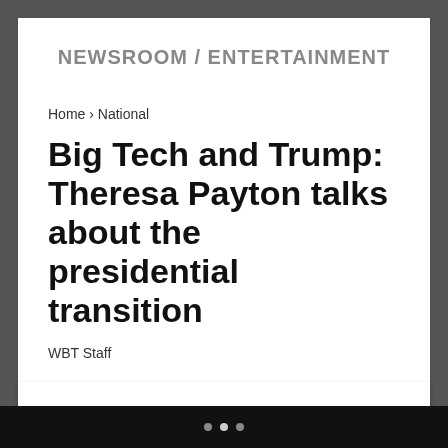NEWSROOM / ENTERTAINMENT
Home › National
Big Tech and Trump: Theresa Payton talks about the presidential transition
WBT Staff
Permanent suspension of